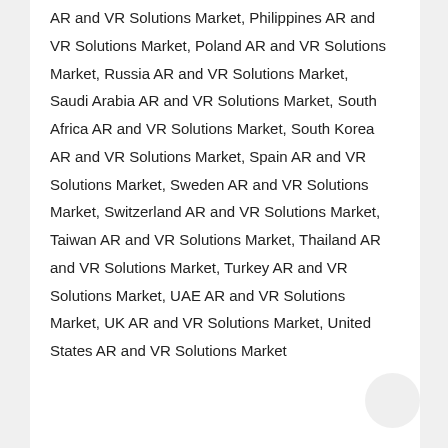AR and VR Solutions Market, Philippines AR and VR Solutions Market, Poland AR and VR Solutions Market, Russia AR and VR Solutions Market, Saudi Arabia AR and VR Solutions Market, South Africa AR and VR Solutions Market, South Korea AR and VR Solutions Market, Spain AR and VR Solutions Market, Sweden AR and VR Solutions Market, Switzerland AR and VR Solutions Market, Taiwan AR and VR Solutions Market, Thailand AR and VR Solutions Market, Turkey AR and VR Solutions Market, UAE AR and VR Solutions Market, UK AR and VR Solutions Market, United States AR and VR Solutions Market